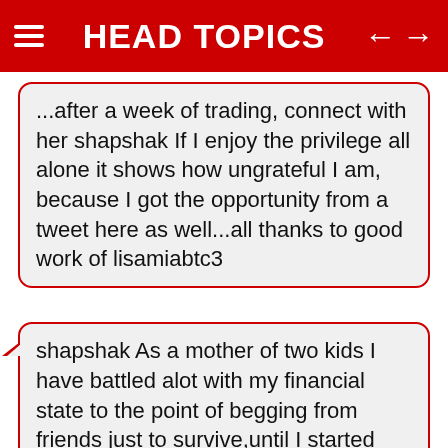HEAD TOPICS
...after a week of trading, connect with her shapshak If I enjoy the privilege all alone it shows how ungrateful I am, because I got the opportunity from a tweet here as well...all thanks to good work of lisamiabtc3
shapshak As a mother of two kids I have battled alot with my financial state to the point of begging from friends just to survive,until I started Bitcoin trading with the help of AMBREYMARCUS1 I made a successful withdrawal of R 200,000 with the help of AMBREYMARCUS1